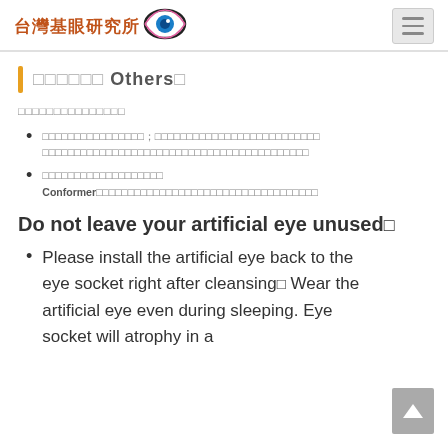台灣基眼研究所 [eye logo]
其他注意事項 Others：
其他有關義眼照護的注意事項
義眼不使用時，請放置於生理食鹽水或清水中保存；切勿使用酒精或任何化學溶劑浸泡，以免損壞義眼表面及縮短義眼使用壽命
若眼窩較深，取出義眼較困難時，可使用吸盤輔助取出。Conformer是義眼的一種，通常用於眼窩手術後，暫時維持眼窩形狀的假體
Do not leave your artificial eye unused：
Please install the artificial eye back to the eye socket right after cleansing。Wear the artificial eye even during sleeping. Eye socket will atrophy in a